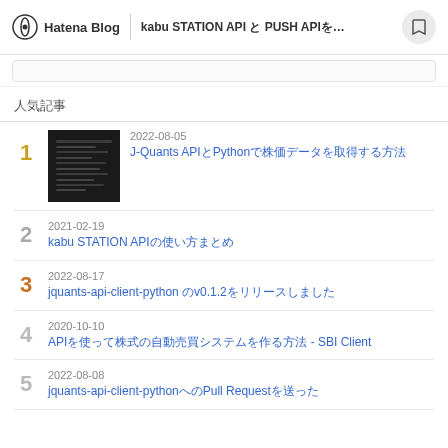Hatena Blog | kabu STATION API と PUSH APIを…
人気記事
1. 2022-08-05 J-Quants APIとPythonで株価データを取得する方法
2. 2021-02-19 kabu STATION APIの使い方まとめ
3. 2022-08-17 jquants-api-client-python のv0.1.2をリリースしました
4. 2020-10-10 APIを使って株式の自動売買システムを作る方法 - SBI Client
5. 2022-08-08 jquants-api-client-pythonへのPull Requestを送った